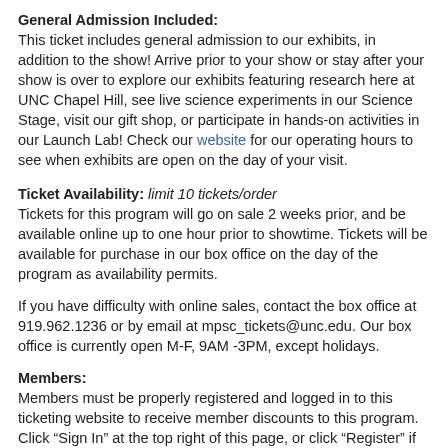General Admission Included:
This ticket includes general admission to our exhibits, in addition to the show! Arrive prior to your show or stay after your show is over to explore our exhibits featuring research here at UNC Chapel Hill, see live science experiments in our Science Stage, visit our gift shop, or participate in hands-on activities in our Launch Lab! Check our website for our operating hours to see when exhibits are open on the day of your visit.
Ticket Availability:
limit 10 tickets/order
Tickets for this program will go on sale 2 weeks prior, and be available online up to one hour prior to showtime. Tickets will be available for purchase in our box office on the day of the program as availability permits.
If you have difficulty with online sales, contact the box office at 919.962.1236 or by email at mpsc_tickets@unc.edu. Our box office is currently open M-F, 9AM -3PM, except holidays.
Members:
Members must be properly registered and logged in to this ticketing website to receive member discounts to this program. Click “Sign In” at the top right of this page, or click “Register” if you don’t have an account. Use the same name, address, and email you used...